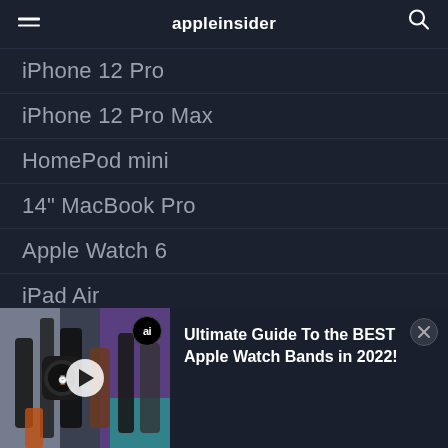appleinsider
iPhone 12 Pro
iPhone 12 Pro Max
HomePod mini
14" MacBook Pro
Apple Watch 6
iPad Air
More...
PRICE GUIDES
[Figure (photo): Apple Watch bands laid out on a surface, showing various strap styles and colors including black, brown and colorful bands]
Ultimate Guide To the BEST Apple Watch Bands in 2022!